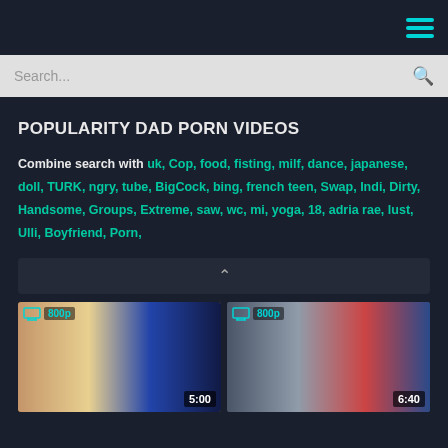Navigation header with hamburger menu
Search...
POPULARITY DAD PORN VIDEOS
Combine search with uk, Cop, food, fisting, milf, dance, japanese, doll, TURK, ngry, tube, BigCock, bing, french teen, Swap, Indi, Dirty, Handsome, Groups, Extreme, saw, wc, mi, yoga, 18, adria rae, lust, Ulli, Boyfriend, Porn,
[Figure (screenshot): Dropdown selector bar with chevron arrow]
[Figure (photo): Video thumbnail 1: 800p quality, duration 5:00]
[Figure (photo): Video thumbnail 2: 800p quality, duration 6:40]